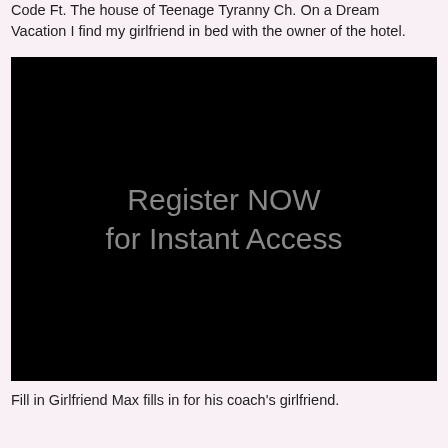Code Ft. The house of Teenage Tyranny Ch. On a Dream Vacation I find my girlfriend in bed with the owner of the hotel.
[Figure (screenshot): Black background image with grey text reading 'Register NOW for Instant Access']
Fill in Girlfriend Max fills in for his coach's girlfriend.